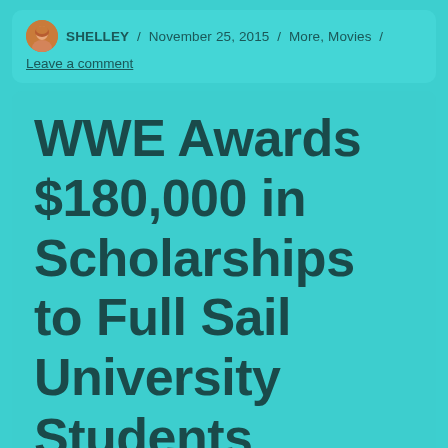SHELLEY / November 25, 2015 / More, Movies / Leave a comment
WWE Awards $180,000 in Scholarships to Full Sail University Students